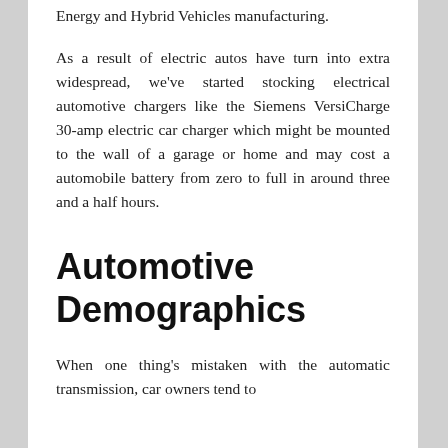Energy and Hybrid Vehicles manufacturing.
As a result of electric autos have turn into extra widespread, we've started stocking electrical automotive chargers like the Siemens VersiCharge 30-amp electric car charger which might be mounted to the wall of a garage or home and may cost a automobile battery from zero to full in around three and a half hours.
Automotive Demographics
When one thing's mistaken with the automatic transmission, car owners tend to